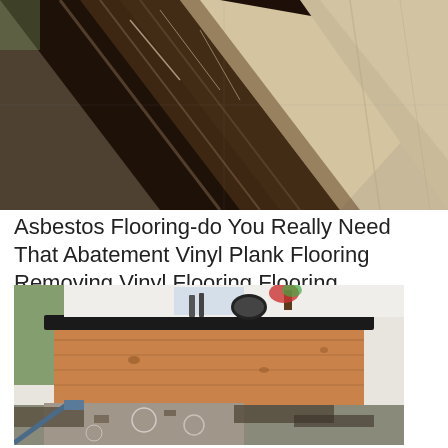[Figure (photo): Photograph of a floor with alternating light beige and dark brown/black vinyl or asbestos floor tiles in a checkerboard-like diagonal pattern, some tiles appear worn and scratched.]
Asbestos Flooring-do You Really Need That Abatement Vinyl Plank Flooring Removing Vinyl Flooring Flooring
[Figure (photo): Photograph of a kitchen or bar area under renovation with wooden paneling forming a curved counter base with dark countertop. The floor shows partially removed vinyl/asbestos tiles, with a scraper tool visible on the left and debris scattered across the bare concrete subfloor.]